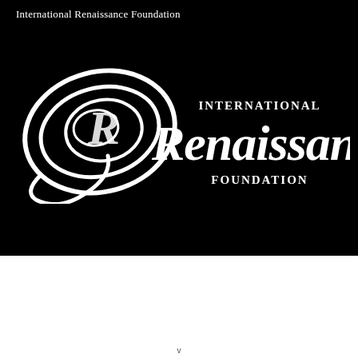International Renaissance Foundation
[Figure (logo): International Renaissance Foundation logo — stylized swirl/spiral motif on the left with the word 'Renaissance' in large serif italic script, and 'INTERNATIONAL' and 'FOUNDATION' stacked in small caps on the right, all in white on black background.]
When referencing our materials, please include an active hyperlink to the Euromaidan Press material and a maximum 500-character extract of the story. To